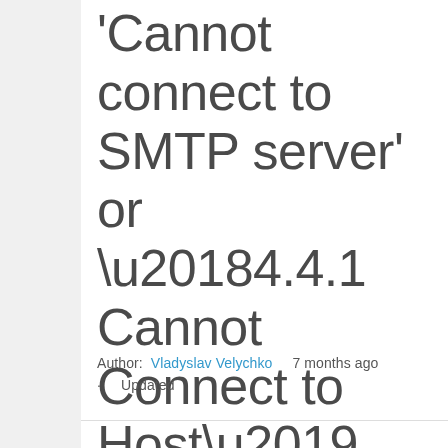'Cannot connect to SMTP server' or ‘4.4.1 Cannot Connect to Host’
Author: Vladyslav Velychko  7 months ago ·  Updated